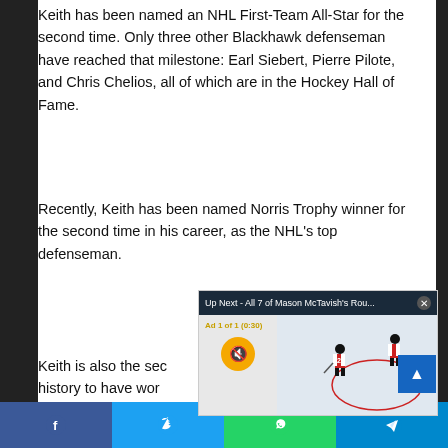Keith has been named an NHL First-Team All-Star for the second time. Only three other Blackhawk defenseman have reached that milestone: Earl Siebert, Pierre Pilote, and Chris Chelios, all of which are in the Hockey Hall of Fame.
Recently, Keith has been named Norris Trophy winner for the second time in his career, as the NHL's top defenseman.
[Figure (screenshot): Video overlay showing 'Up Next - All 7 of Mason McTavish's Rou...' with a hockey game thumbnail, ad counter, mute button, and close button]
Keith is also the sec... history to have wor... are not currently in...
[Figure (screenshot): Bottom social share bar with Facebook, Twitter, WhatsApp, and Telegram icons]